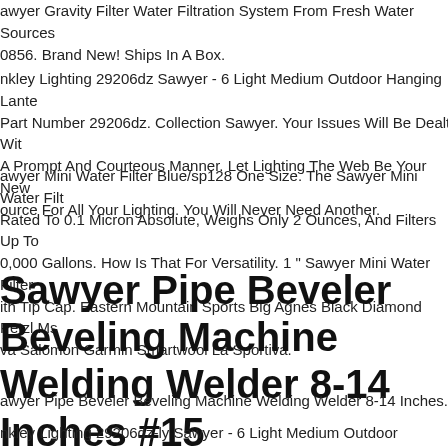awyer Gravity Filter Water Filtration System From Fresh Water Sources 0856. Brand New! Ships In A Box.
nkley Lighting 29206dz Sawyer - 6 Light Medium Outdoor Hanging Lante Part Number 29206dz. Collection Sawyer. Your Issues Will Be Dealt Wit A Prompt And Courteous Manner. Let Lighting The Web Be Your New ource For All Your Lighting. You Will Never Need Another.
awyer Mini Water Filter Blue/sp128 One Size. The Sawyer Mini Water Filt Rated To 0.1 Micron Absolute, Weighs Only 2 Ounces, And Filters Up To 0,000 Gallons. How Is That For Versatility. 1 " Sawyer Mini Water Filter ith Tip Cap. Eastern Mountain Sports Big Agnes Black Diamond Petzl Ms va Salomon Garmin Smartwool La Sportiva.
Sawyer Pipe Beveler Beveling Machine Welding Welder 8-14 Inches #15
awyer Pipe Beveler Beveling Machine Welding Welder 8-14 Inches.
nkley Lighting 29206dz-ly Sawyer - 6 Light Medium Outdoor Hanging